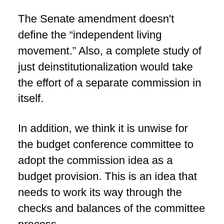The Senate amendment doesn't define the "independent living movement." Also, a complete study of just deinstitutionalization would take the effort of a separate commission in itself.
In addition, we think it is unwise for the budget conference committee to adopt the commission idea as a budget provision. This is an idea that needs to work its way through the checks and balances of the committee process.
As part of that committee process, the concerns we've raised about the makeup and possible bias of the commission still need to be addressed. At the least, we think language should be added to the proposed legislation stating that the commission will examine the complete history of the state's institutional facilities